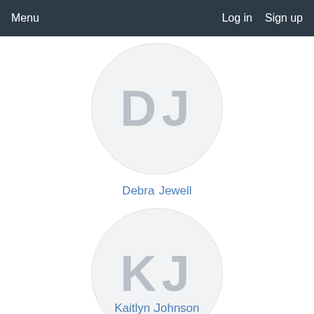Menu   Log in   Sign up
[Figure (illustration): Circular avatar placeholder with initials DJ for Debra Jewell]
Debra Jewell
[Figure (illustration): Circular avatar placeholder with initials KJ for Kaitlyn Johnson]
Kaitlyn Johnson